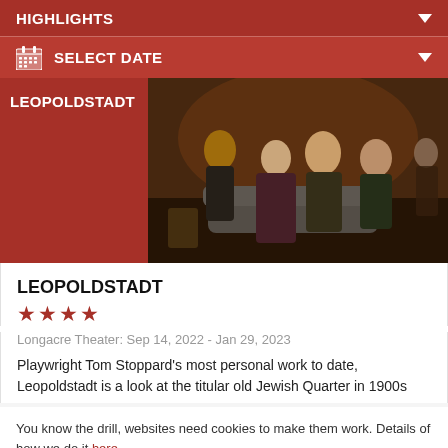HIGHLIGHTS
SELECT DATE
[Figure (photo): Theater production photo for Leopoldstadt showing actors in period costume seated on stage furniture]
LEOPOLDSTADT
★★★★
Longacre Theater: Sep 14, 2022 - Jan 29, 2023
Playwright Tom Stoppard's most personal work to date, Leopoldstadt is a look at the titular old Jewish Quarter in 1900s
You know the drill, websites need cookies to make them work. Details of how we do it here.
Got it!